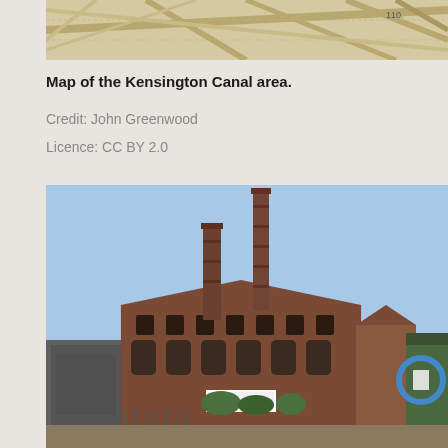[Figure (map): Partial view of a map of the Kensington Canal area, showing street lines and map features in tan/beige tones.]
Map of the Kensington Canal area.
Credit: John Greenwood
Licence: CC BY 2.0
[Figure (photo): Photograph of a large Victorian industrial brick building with two tall chimneys, viewed from across a waterway. The building has arched windows and is surrounded by other industrial structures. A blue logo/sign is visible on the right side.]